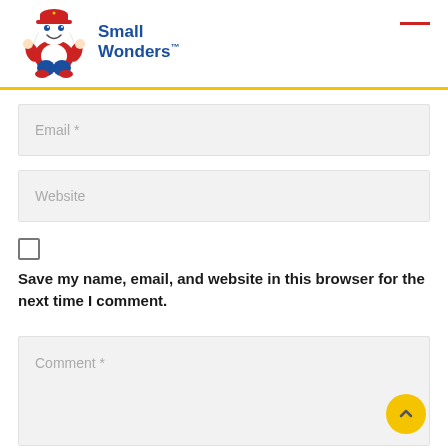Small Wonders
Email *
Website
Save my name, email, and website in this browser for the next time I comment.
Comment *